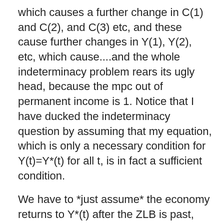which causes a further change in C(1) and C(2), and C(3) etc, and these cause further changes in Y(1), Y(2), etc, which cause....and the whole indeterminacy problem rears its ugly head, because the mpc out of permanent income is 1. Notice that I have ducked the indeterminacy question by assuming that my equation, which is only a necessary condition for Y(t)=Y*(t) for all t, is in fact a sufficient condition.
We have to *just assume* the economy returns to Y*(t) after the ZLB is past, and solve backwards from there.